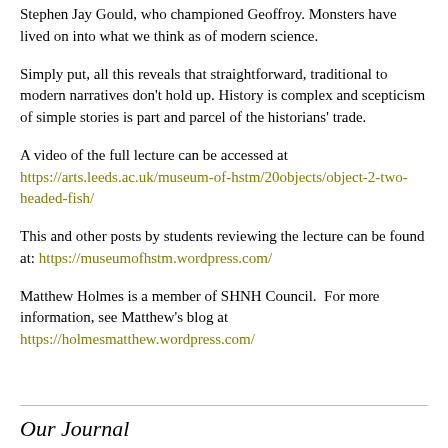Stephen Jay Gould, who championed Geoffroy. Monsters have lived on into what we think as of modern science.
Simply put, all this reveals that straightforward, traditional to modern narratives don't hold up. History is complex and scepticism of simple stories is part and parcel of the historians' trade.
A video of the full lecture can be accessed at https://arts.leeds.ac.uk/museum-of-hstm/20objects/object-2-two-headed-fish/
This and other posts by students reviewing the lecture can be found at: https://museumofhstm.wordpress.com/
Matthew Holmes is a member of SHNH Council.  For more information, see Matthew's blog at https://holmesmatthew.wordpress.com/
Our Journal